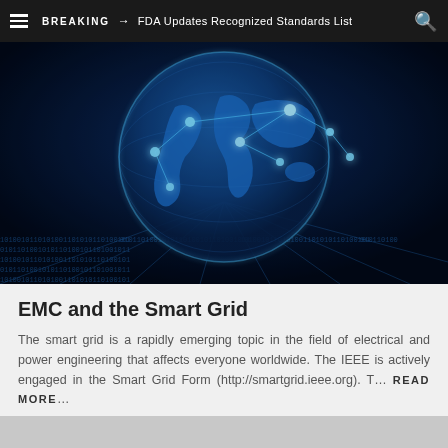BREAKING → FDA Updates Recognized Standards List
[Figure (illustration): Digital globe/world map with glowing blue network connections and binary data streams, representing global digital connectivity and smart grid technology]
EMC and the Smart Grid
The smart grid is a rapidly emerging topic in the field of electrical and power engineering that affects everyone worldwide. The IEEE is actively engaged in the Smart Grid Form (http://smartgrid.ieee.org). T… READ MORE...